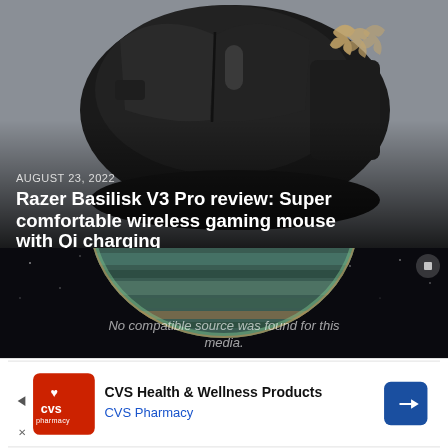[Figure (photo): Close-up photo of a Razer Basilisk V3 Pro wireless gaming mouse in black with gold Razer logo on a gray textured surface]
AUGUST 23, 2022
Razer Basilisk V3 Pro review: Super comfortable wireless gaming mouse with Qi charging
[Figure (screenshot): Video player showing a planet (Jupiter-like) in space with text overlay: No compatible source was found for this media.]
[Figure (photo): CVS Health & Wellness Products advertisement banner with CVS Pharmacy logo in red, headline text and blue arrow navigation button]